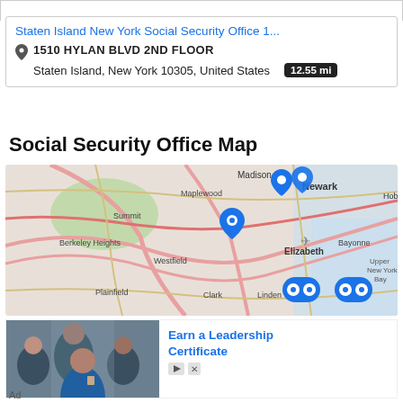Staten Island New York Social Security Office 1...
1510 HYLAN BLVD 2ND FLOOR
Staten Island, New York 10305, United States  12.55 mi
Social Security Office Map
[Figure (map): Map showing Social Security office locations in the New Jersey/New York area including landmarks: Madison, Maplewood, Newark, Hoboker, New, Summit, Berkeley Heights, Westfield, Elizabeth, Bayonne, Upper New York Bay, Plainfield, Clark, Linden. Multiple blue location pins visible on the map.]
[Figure (photo): Advertisement image showing people in a group conversation, professional setting]
Earn a Leadership Certificate
Ad